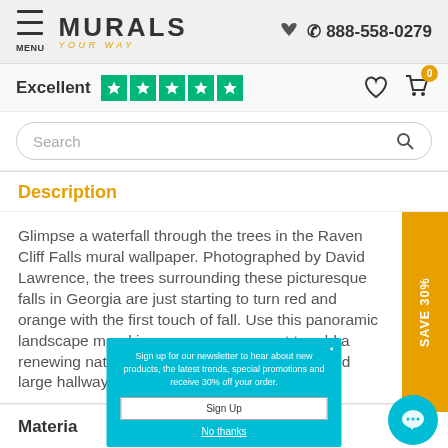MURALS YOUR WAY | 888-558-0279
Excellent ★★★★★
Search
Description
Glimpse a waterfall through the trees in the Raven Cliff Falls mural wallpaper. Photographed by David Lawrence, the trees surrounding these picturesque falls in Georgia are just starting to turn red and orange with the first touch of fall. Use this panoramic landscape mural in any space you want to add a renewing natural view such as office spaces and large hallways.
SAVE 30%
Material
Sign up for our newsletter to hear about new products, the latest trends, special promotions and receive 30% off your order.
Sign Up
No thanks